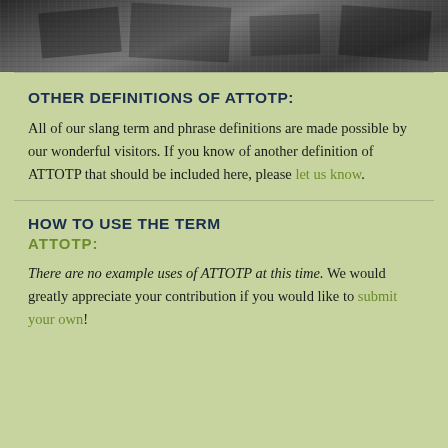[Figure (photo): Black and white photo strip at top of page showing stacked or jumbled objects]
OTHER DEFINITIONS OF ATTOTP:
All of our slang term and phrase definitions are made possible by our wonderful visitors. If you know of another definition of ATTOTP that should be included here, please let us know.
HOW TO USE THE TERM ATTOTP:
There are no example uses of ATTOTP at this time. We would greatly appreciate your contribution if you would like to submit your own!